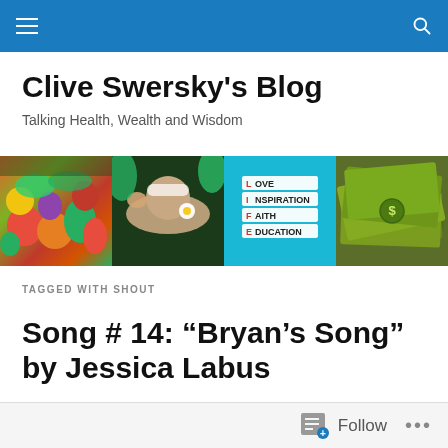Navigation bar with menu and search icons
Clive Swersky's Blog
Talking Health, Wealth and Wisdom
[Figure (photo): Banner with four panels: colorful fruits and vegetables, spa massage scene, LIFE acronym (Love, Inspiration, Faith, Education) on teal background, and US dollar bills]
TAGGED WITH SHOUT
Song # 14: “Bryan’s Song” by Jessica Labus
Follow …